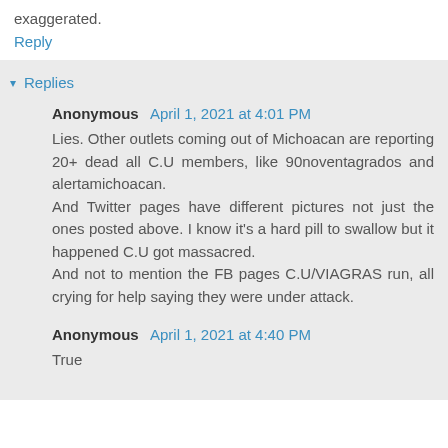exaggerated.
Reply
Replies
Anonymous April 1, 2021 at 4:01 PM
Lies. Other outlets coming out of Michoacan are reporting 20+ dead all C.U members, like 90noventagrados and alertamichoacan.
And Twitter pages have different pictures not just the ones posted above. I know it's a hard pill to swallow but it happened C.U got massacred.
And not to mention the FB pages C.U/VIAGRAS run, all crying for help saying they were under attack.
Anonymous April 1, 2021 at 4:40 PM
True